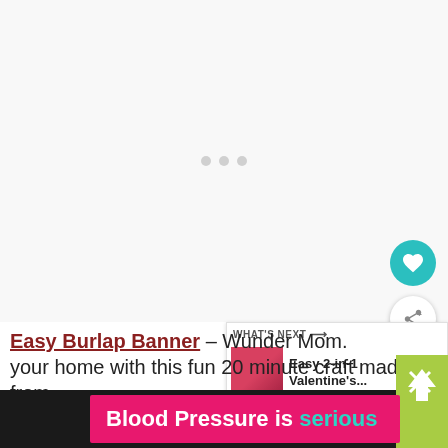[Figure (other): Large whitish/light gray image area with loading indicator (three small gray dots) in the center, representing an image placeholder.]
[Figure (other): Circular teal button with white heart icon (favorite/like button).]
[Figure (other): Circular white button with share icon (share button).]
[Figure (other): What's Next panel thumbnail showing a red/dark image for 'Easy 2-in-1 Valentine's...']
What's Next → Easy 2-in-1 Valentine's...
Easy Burlap Banner – Wunder Mom. your home with this fun 20 minute craft made from
[Figure (other): Pink/magenta advertisement bar reading 'Blood Pressure is serious' with 'serious' in teal color.]
[Figure (other): Green rectangle with upward arrow indicator on right side, and X close button overlay.]